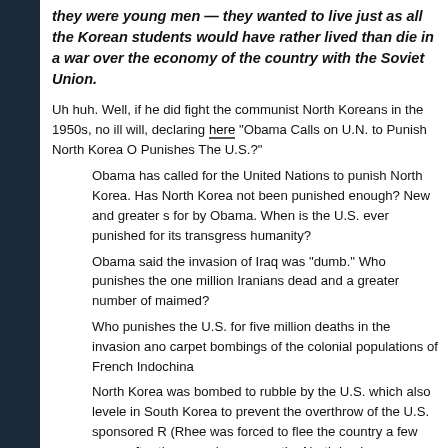they were young men — they wanted to live just as all the Korean students would have rather lived than die in a war over the economy of the country with the Soviet Union.
Uh huh. Well, if he did fight the communist North Koreans in the 1950s, no ill will, declaring here "Obama Calls on U.N. to Punish North Korea Or Punishes The U.S.?"
Obama has called for the United Nations to punish North Korea. Has North Korea not been punished enough? New and greater sanctions are called for by Obama. When is the U.S. ever punished for its transgressions against humanity?
Obama said the invasion of Iraq was "dumb." Who punishes the one million Iranians dead and a greater number of maimed?
Who punishes the U.S. for five million deaths in the invasion and carpet bombings of the colonial populations of French Indochina
North Korea was bombed to rubble by the U.S. which also leveled cities in South Korea to prevent the overthrow of the U.S. sponsored Rhee. (Rhee was forced to flee the country a few years after the war already been over, the North having won easily except for the final city of. U.S. invaded subsequently punishing Korea with millions of casu